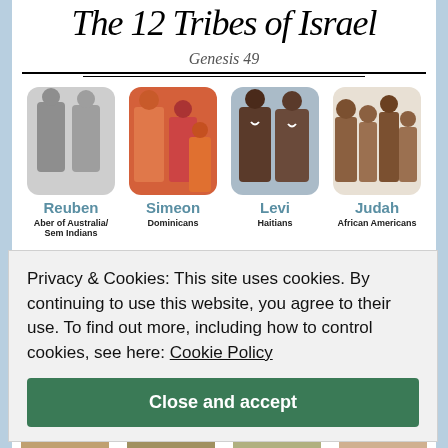The 12 Tribes of Israel
Genesis 49
[Figure (infographic): Four tribe photos in a grid row: Reuben (Aber of Australia/Sem Indians), Simeon (Dominicans), Levi (Haitians), Judah (African Americans), with partial second row below]
Reuben
Aber of Australia/
Sem Indians
Simeon
Dominicans
Levi
Haitians
Judah
African Americans
Privacy & Cookies: This site uses cookies. By continuing to use this website, you agree to their use. To find out more, including how to control cookies, see here: Cookie Policy
Close and accept